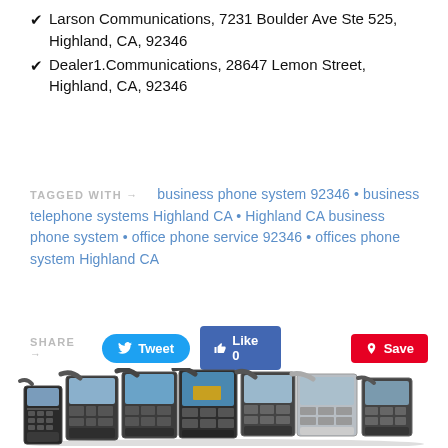✔ Larson Communications, 7231 Boulder Ave Ste 525, Highland, CA, 92346
✔ Dealer1.Communications, 28647 Lemon Street, Highland, CA, 92346
TAGGED WITH → business phone system 92346 • business telephone systems Highland CA • Highland CA business phone system • office phone service 92346 • offices phone system Highland CA
SHARE → Tweet Like 0 Save
[Figure (photo): A row of multiple Cisco IP desk phones arranged in a group photo, various models with LCD screens and keypads.]